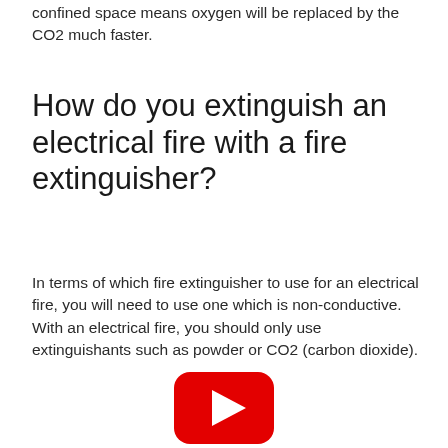confined space means oxygen will be replaced by the CO2 much faster.
How do you extinguish an electrical fire with a fire extinguisher?
In terms of which fire extinguisher to use for an electrical fire, you will need to use one which is non-conductive. With an electrical fire, you should only use extinguishants such as powder or CO2 (carbon dioxide).
[Figure (logo): YouTube logo icon (red rounded rectangle with white play button triangle), partially visible at bottom of page]